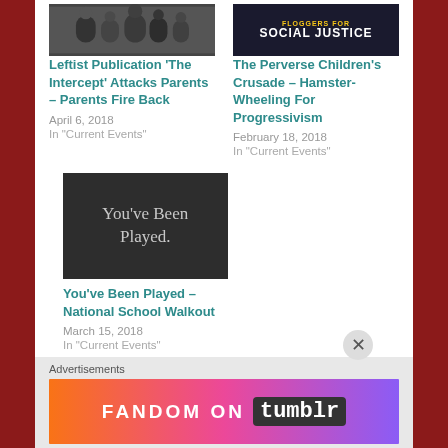[Figure (photo): Group of people photo thumbnail]
Leftist Publication 'The Intercept' Attacks Parents – Parents Fire Back
April 6, 2018
In "Current Events"
[Figure (photo): Social justice sign image thumbnail]
The Perverse Children's Crusade – Hamster-Wheeling For Progressivism
February 18, 2018
In "Current Events"
[Figure (illustration): Dark background with text: You've Been Played.]
You've Been Played – National School Walkout
March 15, 2018
In "Current Events"
Advertisements
[Figure (screenshot): Fandom on tumblr advertisement banner with colorful gradient background]